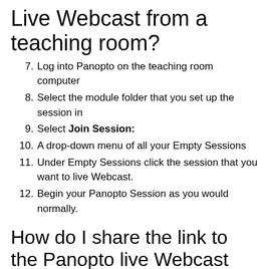Live Webcast from a teaching room?
7. Log into Panopto on the teaching room computer
8. Select the module folder that you set up the session in
9. Select Join Session:
10. A drop-down menu of all your Empty Sessions
11. Under Empty Sessions click the session that you want to live Webcast.
12. Begin your Panopto Session as you would normally.
How do I share the link to the Panopto live Webcast Session with students?
We recommend sending students a calendar invitation via Outlook for the time you intend to record the live session which includes a copy of the